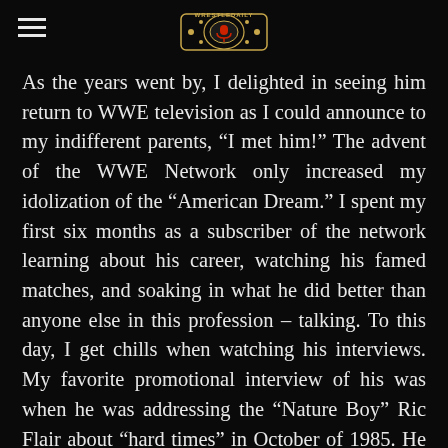WrestleDaily logo and navigation
As the years went by, I delighted in seeing him return to WWE television as I could announce to my indifferent parents, “I met him!” The advent of the WWE Network only increased my idolization of the “American Dream.” I spent my first six months as a subscriber of the network learning about his career, watching his famed matches, and soaking in what he did better than anyone else in this profession – talking. To this day, I get chills when watching his interviews. My favorite promotional interview of his was when he was addressing the “Nature Boy” Ric Flair about “hard times” in October of 1985. He spoke with such passion and vigor that you didn’t have to know who he was to know that he was a man on a mission. Very few people in this world can grab your attention as soon as they open their mouth, and Dusty Rhodes was one of them. One of his more famous li…